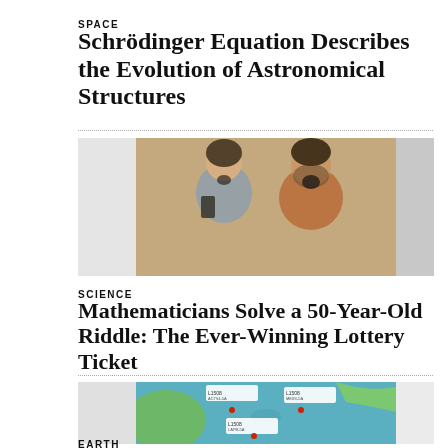SPACE
Schrödinger Equation Describes the Evolution of Astronomical Structures
[Figure (photo): Two people (a woman and a man) laughing and celebrating, the woman holding a phone and the man holding a tablet]
SCIENCE
Mathematicians Solve a 50-Year-Old Riddle: The Ever-Winning Lottery Ticket
[Figure (map): Satellite/aerial map showing ocean and landmass with labeled data points and annotations in red and white text boxes]
EARTH